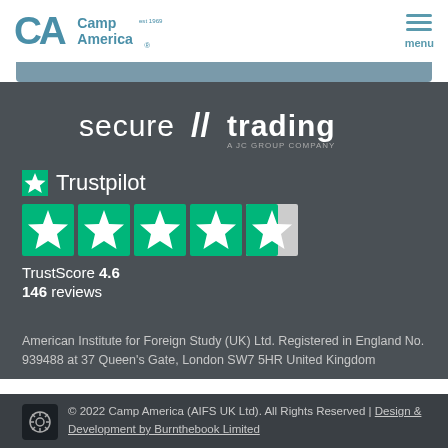Camp America (logo) | menu
[Figure (logo): Secure Trading — a JC Group Company logo in white on dark background]
[Figure (infographic): Trustpilot rating widget showing TrustScore 4.6 with 5 green star boxes (last one partially filled) and 146 reviews]
TrustScore 4.6
146 reviews
American Institute for Foreign Study (UK) Ltd. Registered in England No. 939488 at 37 Queen's Gate, London SW7 5HR United Kingdom
© 2022 Camp America (AIFS UK Ltd). All Rights Reserved | Design & Development by Burnthebook Limited